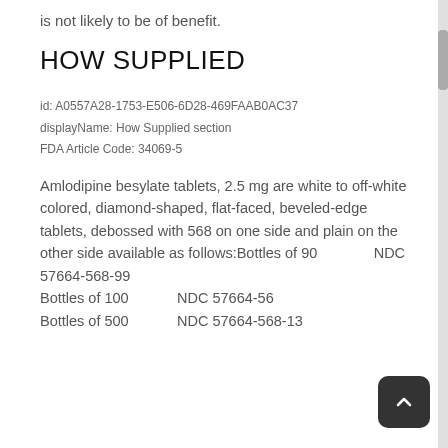is not likely to be of benefit.
HOW SUPPLIED
id: A0557A28-1753-E506-6D28-469FAAB0AC37
displayName: How Supplied section
FDA Article Code: 34069-5
Amlodipine besylate tablets, 2.5 mg are white to off-white colored, diamond-shaped, flat-faced, beveled-edge tablets, debossed with 568 on one side and plain on the other side available as follows:Bottles of 90                NDC 57664-568-99
Bottles of 100              NDC 57664-568-
Bottles of 500              NDC 57664-568-13